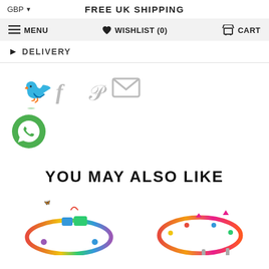GBP ▼   FREE UK SHIPPING
≡ MENU   ♥ WISHLIST (0)   🛒 CART
▶ DELIVERY
[Figure (infographic): Social sharing icons: Twitter bird, Facebook f, Pinterest P, email envelope, WhatsApp phone icon on green circle]
YOU MAY ALSO LIKE
[Figure (photo): Two colorful beaded friendship bracelets: left one rainbow with animal charms, right one orange/pink with small charms]